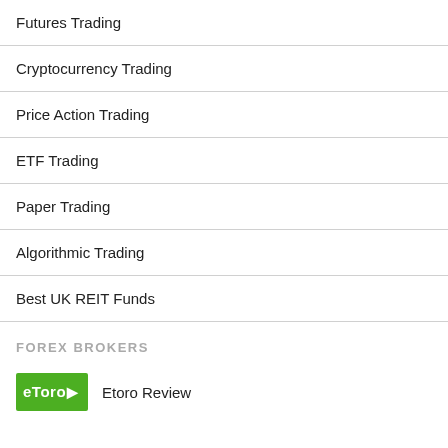Futures Trading
Cryptocurrency Trading
Price Action Trading
ETF Trading
Paper Trading
Algorithmic Trading
Best UK REIT Funds
FOREX BROKERS
Etoro Review